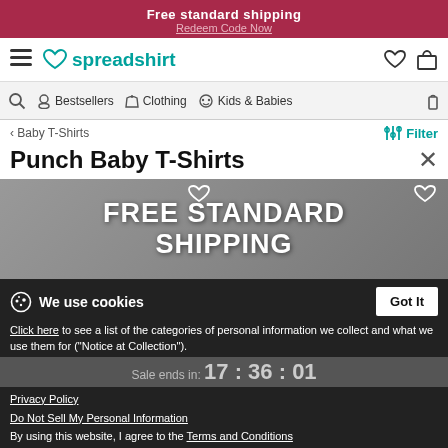Free standard shipping
Redeem Code Now
[Figure (screenshot): Spreadshirt navigation bar with hamburger menu, logo, wishlist heart icon and cart icon]
[Figure (screenshot): Sub-navigation bar with search, Bestsellers, Clothing, Kids & Babies, and bag icon]
< Baby T-Shirts
Filter
Punch Baby T-Shirts
[Figure (screenshot): Product banner showing FREE STANDARD SHIPPING text overlay on dark background with product images and wishlist heart icons]
We use cookies
Got It
Click here to see a list of the categories of personal information we collect and what we use them for ("Notice at Collection").
Privacy Policy
Do Not Sell My Personal Information
By using this website, I agree to the Terms and Conditions
Sale ends in: 17 : 36 : 01
FREESTANDARDSHIPPINGAUG22